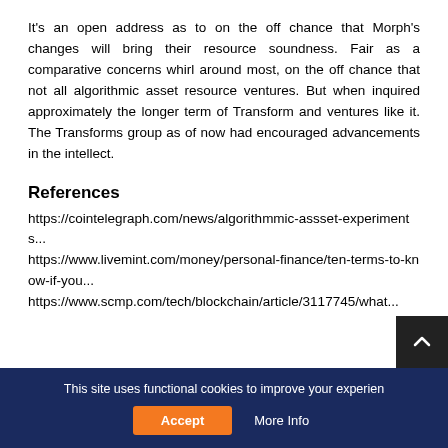It's an open address as to on the off chance that Morph's changes will bring their resource soundness. Fair as a comparative concerns whirl around most, on the off chance that not all algorithmic asset resource ventures. But when inquired approximately the longer term of Transform and ventures like it. The Transforms group as of now had encouraged advancements in the intellect.
References
https://cointelegraph.com/news/algorithmmic-assset-experiments...
https://www.livemint.com/money/personal-finance/ten-terms-to-know-if-you...
https://www.scmp.com/tech/blockchain/article/3117745/what...
This site uses functional cookies to improve your experien